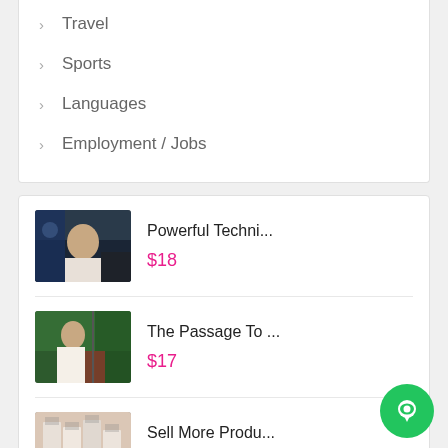Travel
Sports
Languages
Employment / Jobs
Powerful Techni...
$18
The Passage To ...
$17
Sell More Produ...
Free